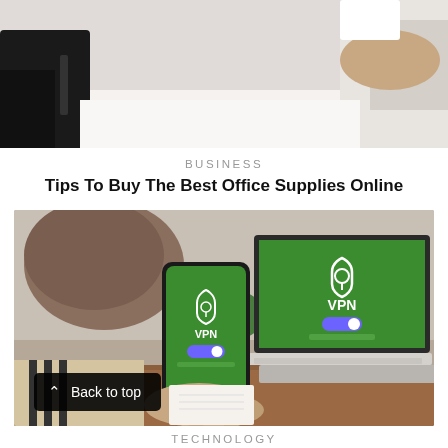[Figure (photo): Partial view of a person at a desk, upper portion cropped, showing arms and suit jacket with a pen or object in hand, light background]
BUSINESS
Tips To Buy The Best Office Supplies Online
[Figure (photo): Woman seen from behind holding a smartphone showing a VPN app with green screen and shield logo, with a laptop also displaying a VPN app on a green screen, on a wooden desk]
Back to top
TECHNOLOGY